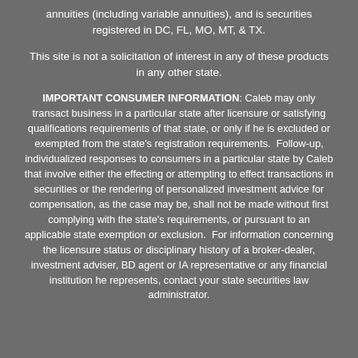annuities (including variable annuities), and is securities registered in DC, FL, MO, MT, & TX.
This site is not a solicitation of interest in any of these products in any other state.
IMPORTANT CONSUMER INFORMATION: Caleb may only transact business in a particular state after licensure or satisfying qualifications requirements of that state, or only if he is excluded or exempted from the state's registration requirements.  Follow-up, individualized responses to consumers in a particular state by Caleb that involve either the effecting or attempting to effect transactions in securities or the rendering of personalized investment advice for compensation, as the case may be, shall not be made without first complying with the state's requirements, or pursuant to an applicable state exemption or exclusion.  For information concerning the licensure status or disciplinary history of a broker-dealer, investment adviser, BD agent or IA representative or any financial institution he represents, contact your state securities law administrator.